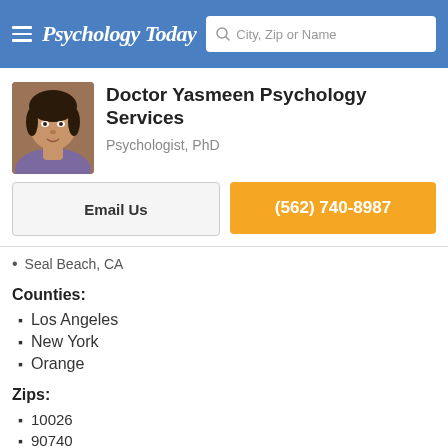Psychology Today — City, Zip or Name search
Doctor Yasmeen Psychology Services
Psychologist, PhD
Email Us
(562) 740-8987
Seal Beach, CA
Counties:
Los Angeles
New York
Orange
Zips:
10026
90740
90807